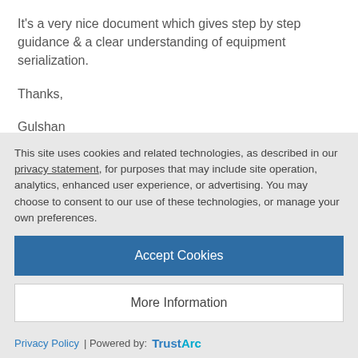It's a very nice document which gives step by step guidance & a clear understanding of equipment serialization.
Thanks,
Gulshan
Like 0  |  Share
Piyush Gupta | Blog Post Author
This site uses cookies and related technologies, as described in our privacy statement, for purposes that may include site operation, analytics, enhanced user experience, or advertising. You may choose to consent to our use of these technologies, or manage your own preferences.
Accept Cookies
More Information
Privacy Policy | Powered by: TrustArc